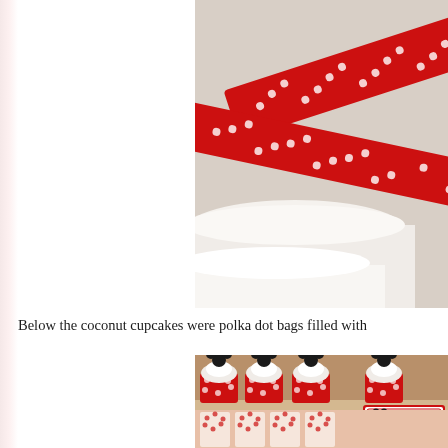[Figure (photo): Top portion of a photo showing red polka dot ribbon and white cake/surface on a neutral background]
Below the coconut cupcakes were polka dot bags filled with
[Figure (photo): Mickey Mouse themed cupcakes in red polka dot cups with black Mickey ear toppers, on a shelf. A label card reads 'Enchanted Kingdom Coconut Cupcakes'. Below are red polka dot cellophane bags on display.]